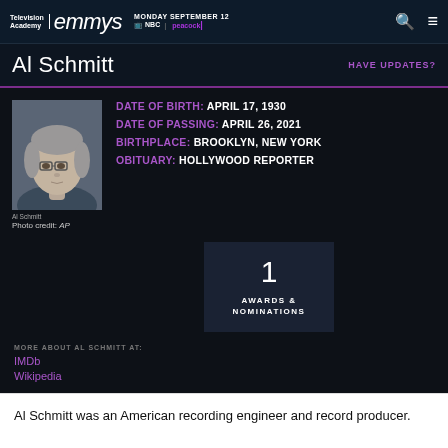Television Academy | emmys MONDAY SEPTEMBER 12 NBC | peacock
Al Schmitt
HAVE UPDATES?
DATE OF BIRTH: APRIL 17, 1930
DATE OF PASSING: APRIL 26, 2021
BIRTHPLACE: BROOKLYN, NEW YORK
OBITUARY: HOLLYWOOD REPORTER
[Figure (photo): Headshot photo of Al Schmitt, older man with grey hair and glasses]
Al Schmitt
Photo credit: AP
1
AWARDS &
NOMINATIONS
MORE ABOUT AL SCHMITT AT:
IMDb
Wikipedia
Al Schmitt was an American recording engineer and record producer.
During his career, he recorded and mixed more than 150 gold and platinum records.